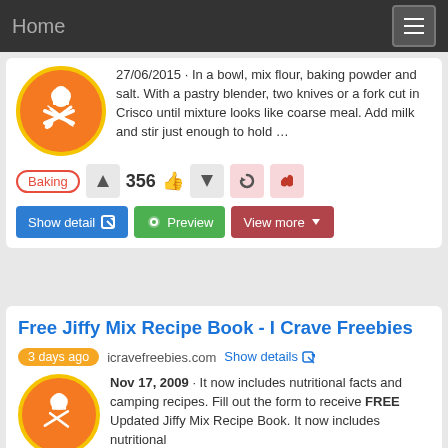Home
27/06/2015 · In a bowl, mix flour, baking powder and salt. With a pastry blender, two knives or a fork cut in Crisco until mixture looks like coarse meal. Add milk and stir just enough to hold …
Baking  356
Show detail  Preview  View more
Free Jiffy Mix Recipe Book - I Crave Freebies
3 days ago  icravefreebies.com  Show details
Nov 17, 2009 · It now includes nutritional facts and camping recipes. Fill out the form to receive FREE Updated Jiffy Mix Recipe Book. It now includes nutritional